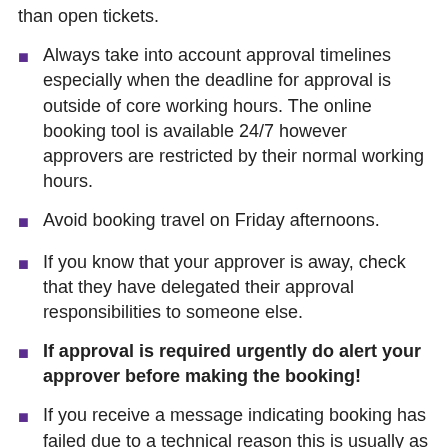than open tickets.
Always take into account approval timelines especially when the deadline for approval is outside of core working hours. The online booking tool is available 24/7 however approvers are restricted by their normal working hours.
Avoid booking travel on Friday afternoons.
If you know that your approver is away, check that they have delegated their approval responsibilities to someone else.
If approval is required urgently do alert your approver before making the booking!
If you receive a message indicating booking has failed due to a technical reason this is usually as a result of issues with the feeder website e.g. Booking.com or Expedia. It is recommended you